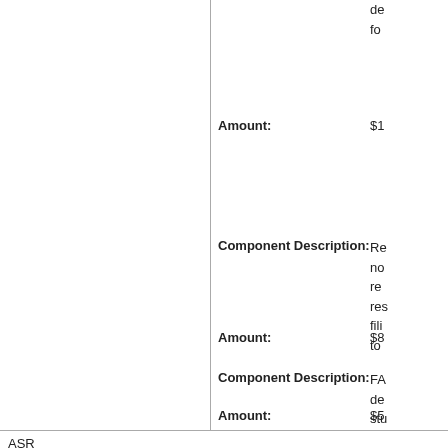Amount:
$1
Component Description:
Re no re res fili to
Amount:
$8
Component Description:
FA de stu
Amount:
$5
ASR